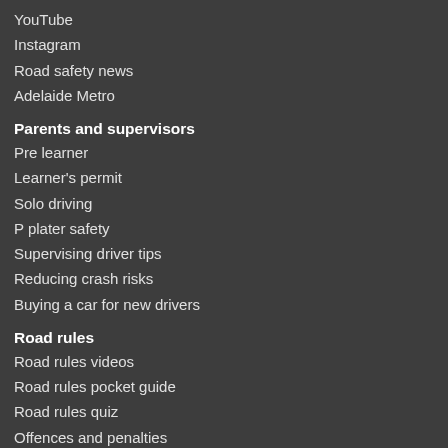YouTube
Instagram
Road safety news
Adelaide Metro
Parents and supervisors
Pre learner
Learner's permit
Solo driving
P plater safety
Supervising driver tips
Reducing crash risks
Buying a car for new drivers
Road rules
Road rules videos
Road rules pocket guide
Road rules quiz
Offences and penalties
Road rule amendments
Cycling laws
25km/h Emergency Services speed limit